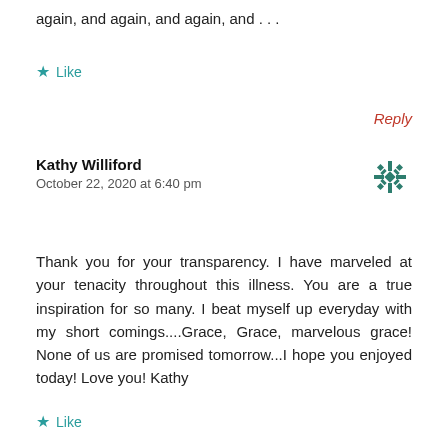again, and again, and again, and . . .
Like
Reply
Kathy Williford
October 22, 2020 at 6:40 pm
Thank you for your transparency. I have marveled at your tenacity throughout this illness. You are a true inspiration for so many. I beat myself up everyday with my short comings....Grace, Grace, marvelous grace! None of us are promised tomorrow...I hope you enjoyed today! Love you! Kathy
Like